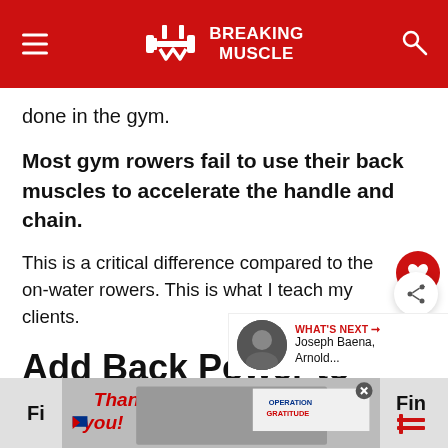Breaking Muscle
done in the gym.
Most gym rowers fail to use their back muscles to accelerate the handle and chain.
This is a critical difference compared to the on-water rowers. This is what I teach my clients.
Add Back Power to your Rowing
[Figure (other): Advertisement banner with Operation Gratitude imagery and close button]
Fi... the ... wino
[Figure (photo): WHAT'S NEXT arrow with circular photo thumbnail and text: Joseph Baena, Arnold...]